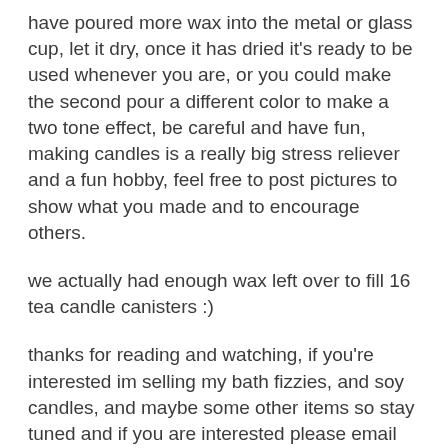have poured more wax into the metal or glass cup, let it dry, once it has dried it's ready to be used whenever you are, or you could make the second pour a different color to make a two tone effect, be careful and have fun, making candles is a really big stress reliever and a fun hobby, feel free to post pictures to show what you made and to encourage others.
we actually had enough wax left over to fill 16 tea candle canisters :)
thanks for reading and watching, if you're interested im selling my bath fizzies, and soy candles, and maybe some other items so stay tuned and if you are interested please email me at RunicGoods@yahoo.com